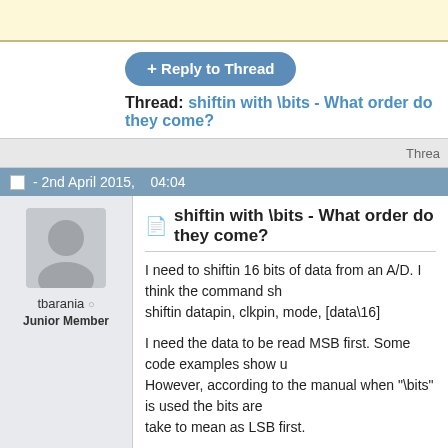[Figure (screenshot): Yellow advertisement banner at top of forum page]
+ Reply to Thread
Thread: shiftin with \bits - What order do they come?
Threa
- 2nd April 2015,   04:04
tbarania
Junior Member
shiftin with \bits - What order do they come?
I need to shiftin 16 bits of data from an A/D. I think the command should be:
shiftin datapin, clkpin, mode, [data\16]

I need the data to be read MSB first. Some code examples show u... However, according to the manual when "\bits" is used the bits are... take to mean as LSB first.

Am I understanding this correctly? Or can I select either MSB or LS... read?

If the bits are read in in reverse is there an easy way to reverse the...